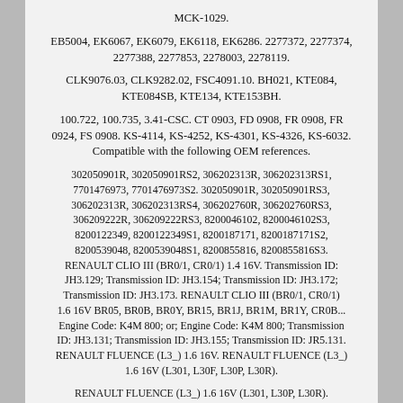MCK-1029.
EB5004, EK6067, EK6079, EK6118, EK6286. 2277372, 2277374, 2277388, 2277853, 2278003, 2278119.
CLK9076.03, CLK9282.02, FSC4091.10. BH021, KTE084, KTE084SB, KTE134, KTE153BH.
100.722, 100.735, 3.41-CSC. CT 0903, FD 0908, FR 0908, FR 0924, FS 0908. KS-4114, KS-4252, KS-4301, KS-4326, KS-6032. Compatible with the following OEM references.
302050901R, 302050901RS2, 306202313R, 306202313RS1, 7701476973, 7701476973S2. 302050901R, 302050901RS3, 306202313R, 306202313RS4, 306202760R, 306202760RS3, 306209222R, 306209222RS3, 8200046102, 8200046102S3, 8200122349, 8200122349S1, 8200187171, 8200187171S2, 8200539048, 8200539048S1, 8200855816, 8200855816S3. RENAULT CLIO III (BR0/1, CR0/1) 1.4 16V. Transmission ID: JH3.129; Transmission ID: JH3.154; Transmission ID: JH3.172; Transmission ID: JH3.173. RENAULT CLIO III (BR0/1, CR0/1) 1.6 16V BR05, BR0B, BR0Y, BR15, BR1J, BR1M, BR1Y, CR0B... Engine Code: K4M 800; or; Engine Code: K4M 800; Transmission ID: JH3.131; Transmission ID: JH3.155; Transmission ID: JR5.131. RENAULT FLUENCE (L3_) 1.6 16V. RENAULT FLUENCE (L3_) 1.6 16V (L301, L30F, L30P, L30R).
RENAULT FLUENCE (L3_) 1.6 16V (L301, L30P, L30R). RENAULT KANGOO / GRAND KANGOO II (KW0/1_) 1.6